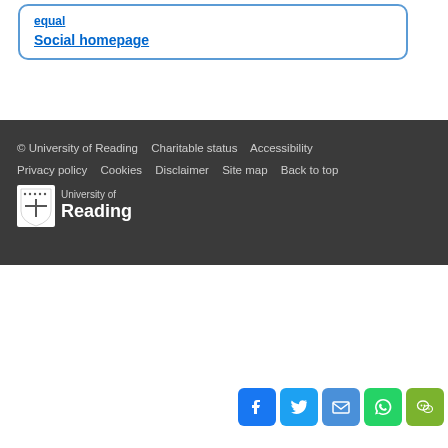Social homepage
© University of Reading   Charitable status   Accessibility   Privacy policy   Cookies   Disclaimer   Site map   Back to top
[Figure (logo): University of Reading logo — shield crest with text 'University of Reading']
[Figure (infographic): Row of five social media share icons: Facebook (blue), Twitter (light blue), Mail (blue), WhatsApp (green), WeChat (green)]